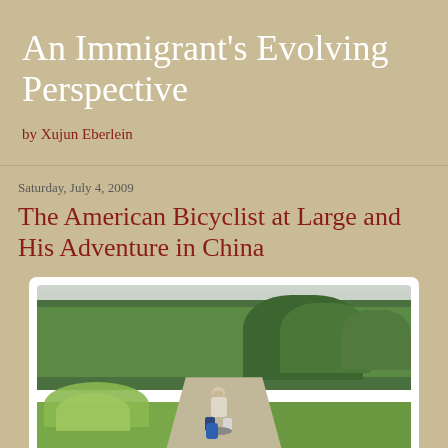An Immigrant's Evolving Perspective
by Xujun Eberlein
Saturday, July 4, 2009
The American Bicyclist at Large and His Adventure in China
[Figure (photo): A cyclist loaded with luggage riding on a curved path through a lush green suburban landscape with trees and lawn in the background.]